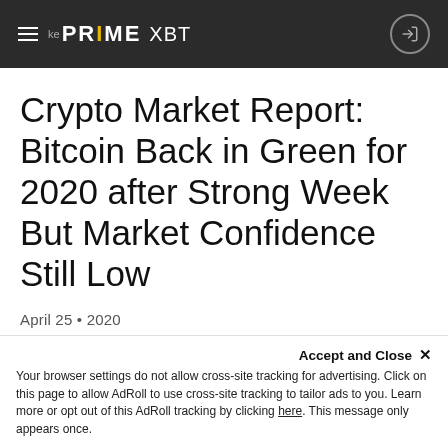PRIME XBT
Crypto Market Report: Bitcoin Back in Green for 2020 after Strong Week But Market Confidence Still Low
April 25 • 2020
This past week has once again proved to be a rather good one for Bitcoin and its associated...
Accept and Close ✕ Your browser settings do not allow cross-site tracking for advertising. Click on this page to allow AdRoll to use cross-site tracking to tailor ads to you. Learn more or opt out of this AdRoll tracking by clicking here. This message only appears once.